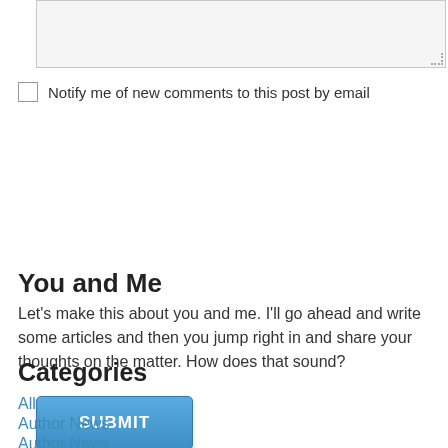[Figure (other): Text input textarea (comment box), light gray background with dotted resize handle]
Notify me of new comments to this post by email
SUBMIT
You and Me
Let's make this about you and me. I'll go ahead and write some articles and then you jump right in and share your thoughts on the matter. How does that sound?
Categories
All
Author News
Author News
The Gathering News